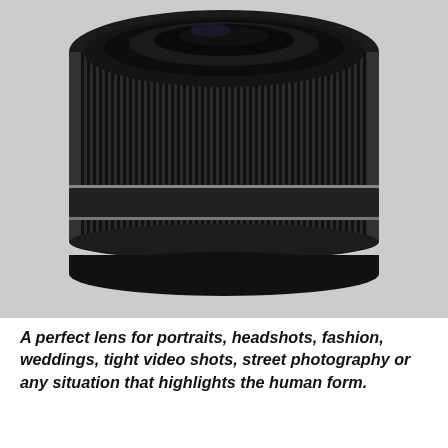[Figure (photo): A Nikon NIKKOR Z 85mm f/1.8 S camera lens shown from front-top angle, black with ribbed barrel, text '85/1.8 S' visible on the barrel]
A perfect lens for portraits, headshots, fashion, weddings, tight video shots, street photography or any situation that highlights the human form.
Popular for portraiture, the NIKKOR Z 85mm f/1.8 S's 85mm perspective is within the sweet spot for portraits and fashion, rendering faces naturally and beautifully, free of distortion, and it can offer extreme sharpness, stunning bokeh, unwavering focus and lifelike accuracy compensation. Bright f/1.8 maximum aperture suits working in difficult